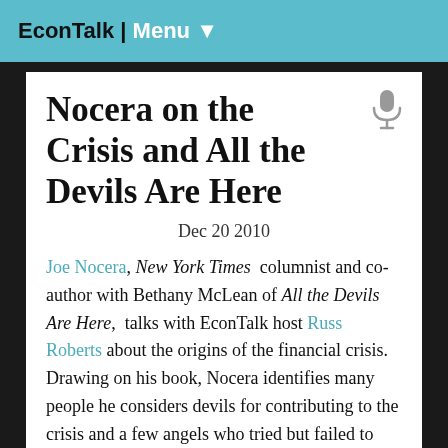EconTalk | Menu
Nocera on the Crisis and All the Devils Are Here
Dec 20 2010
Joe Nocera, New York Times columnist and co-author with Bethany McLean of All the Devils Are Here, talks with EconTalk host Russ Roberts about the origins of the financial crisis. Drawing on his book, Nocera identifies many people he considers devils for contributing to the crisis and a few angels who tried but failed to stop it. The discussion covers the history and development of securitization and the peculiar